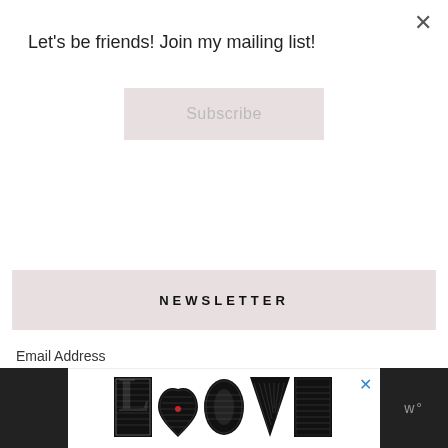Let's be friends! Join my mailing list!
Subscribe
Load More...
Follow on Instagram
NEWSLETTER
Email Address
Subscribe
[Figure (logo): LOOVE logo with decorative illustrated letters in black and white with a red heart accent, and a Wix music player icon on the right]